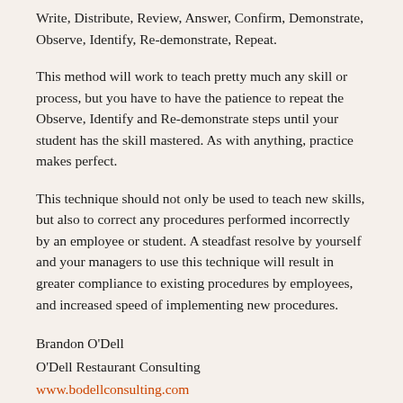Write, Distribute, Review, Answer, Confirm, Demonstrate, Observe, Identify, Re-demonstrate, Repeat.
This method will work to teach pretty much any skill or process, but you have to have the patience to repeat the Observe, Identify and Re-demonstrate steps until your student has the skill mastered. As with anything, practice makes perfect.
This technique should not only be used to teach new skills, but also to correct any procedures performed incorrectly by an employee or student. A steadfast resolve by yourself and your managers to use this technique will result in greater compliance to existing procedures by employees, and increased speed of implementing new procedures.
Brandon O'Dell
O'Dell Restaurant Consulting
www.bodellconsulting.com